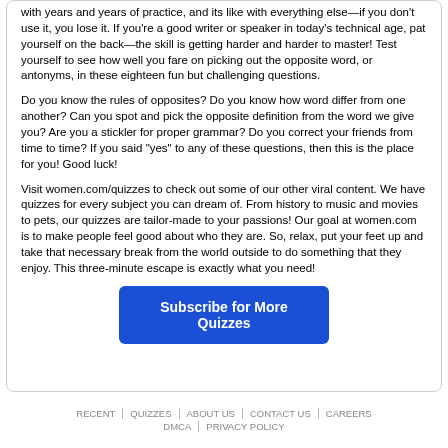with years and years of practice, and its like with everything else—if you don't use it, you lose it. If you're a good writer or speaker in today's technical age, pat yourself on the back—the skill is getting harder and harder to master! Test yourself to see how well you fare on picking out the opposite word, or antonyms, in these eighteen fun but challenging questions.
Do you know the rules of opposites? Do you know how word differ from one another? Can you spot and pick the opposite definition from the word we give you? Are you a stickler for proper grammar? Do you correct your friends from time to time? If you said "yes" to any of these questions, then this is the place for you! Good luck!
Visit women.com/quizzes to check out some of our other viral content. We have quizzes for every subject you can dream of. From history to music and movies to pets, our quizzes are tailor-made to your passions! Our goal at women.com is to make people feel good about who they are. So, relax, put your feet up and take that necessary break from the world outside to do something that they enjoy. This three-minute escape is exactly what you need!
Subscribe for More Quizzes
RECENT | QUIZZES | ABOUT US | CONTACT US | CAREERS | DMCA | PRIVACY POLICY